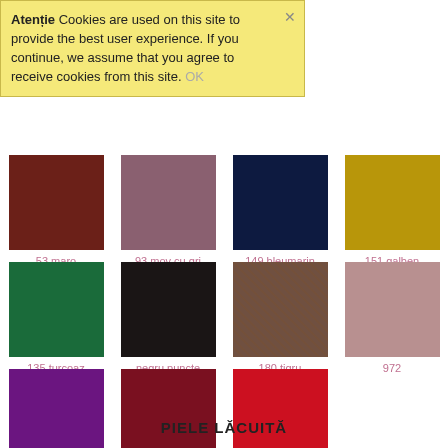Atenție  Cookies are used on this site to provide the best user experience. If you continue, we assume that you agree to receive cookies from this site. OK
[Figure (illustration): Color swatch grid showing fabric/leather color options. Row 1: 53 maro (dark brown), 93 mov cu gri (mauve-grey), 149 bleumarin (navy blue), 151 galben (gold/yellow). Row 2: 135 turcoaz (dark green), negru puncte (black with pattern), 180 tigru (tiger brown texture), 972 (dusty rose). Row 3: 999 violet (purple), bordo (dark red), Roșu (red).]
PIELE LĂCUITĂ